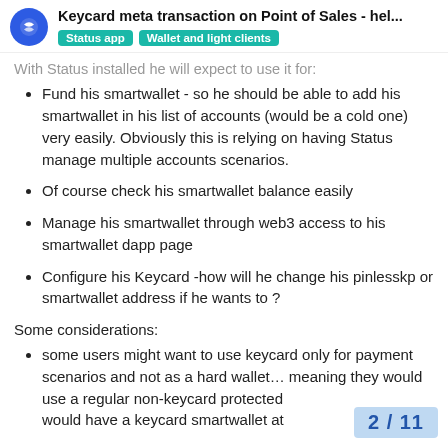Keycard meta transaction on Point of Sales - hel... | Status app | Wallet and light clients
With Status installed he will expect to use it for:
Fund his smartwallet - so he should be able to add his smartwallet in his list of accounts (would be a cold one) very easily. Obviously this is relying on having Status manage multiple accounts scenarios.
Of course check his smartwallet balance easily
Manage his smartwallet through web3 access to his smartwallet dapp page
Configure his Keycard -how will he change his pinlesskp or smartwallet address if he wants to ?
Some considerations:
some users might want to use keycard only for payment scenarios and not as a hard wallet… meaning they would use a regular non-keycard protected [wallet] would have a keycard smartwallet at
2 / 11